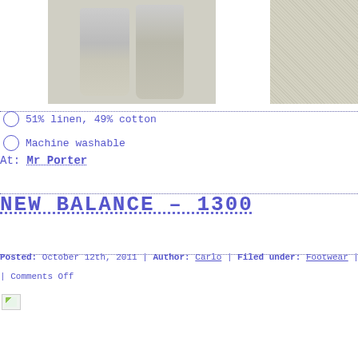[Figure (photo): Two views of beige linen-cotton trousers/pants laid flat, and a close-up swatch of the fabric texture on the right.]
51% linen, 49% cotton
Machine washable
At: Mr Porter
NEW BALANCE – 1300
Posted: October 12th, 2011 | Author: Carlo | Filed under: Footwear | Tags: | Comments Off
[Figure (photo): Broken/missing image placeholder]